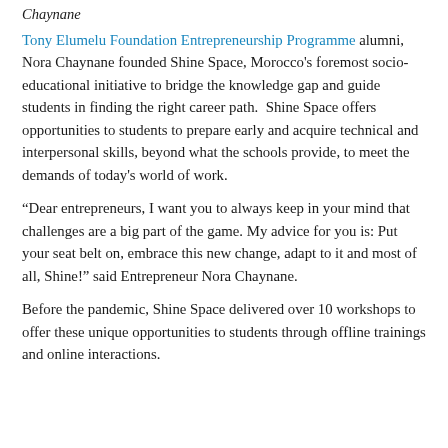Chaynane
Tony Elumelu Foundation Entrepreneurship Programme alumni, Nora Chaynane founded Shine Space, Morocco's foremost socio-educational initiative to bridge the knowledge gap and guide students in finding the right career path.  Shine Space offers opportunities to students to prepare early and acquire technical and interpersonal skills, beyond what the schools provide, to meet the demands of today's world of work.
“Dear entrepreneurs, I want you to always keep in your mind that challenges are a big part of the game. My advice for you is: Put your seat belt on, embrace this new change, adapt to it and most of all, Shine!” said Entrepreneur Nora Chaynane.
Before the pandemic, Shine Space delivered over 10 workshops to offer these unique opportunities to students through offline trainings and online interactions.